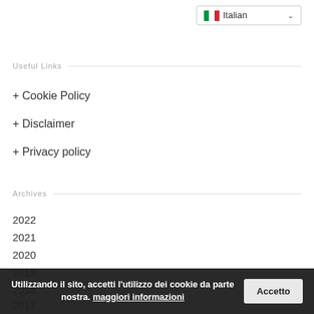[Figure (other): Language selector dropdown showing Italian flag and 'Italian' label with chevron]
Useful Links
+ Cookie Policy
+ Disclaimer
+ Privacy policy
Archives
2022
2021
2020
2019
2018
2017
Utilizzando il sito, accetti l'utilizzo dei cookie da parte nostra. maggiori informazioni
Accetto